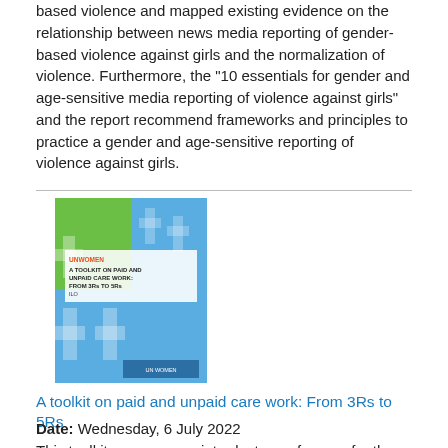based violence and mapped existing evidence on the relationship between news media reporting of gender-based violence against girls and the normalization of violence. Furthermore, the "10 essentials for gender and age-sensitive media reporting of violence against girls" and the report recommend frameworks and principles to practice a gender and age-sensitive reporting of violence against girls.
[Figure (illustration): Book cover for 'A Toolkit on Paid and Unpaid Care Work: From 3Rs to 5Rs' with blue and green design featuring cross/plus symbols]
A toolkit on paid and unpaid care work: From 3Rs to 5Rs
Date: Wednesday, 6 July 2022
This toolkit serves as an introductory reference for those working on care as a means to achieve gender equality, the empowerment of women and girls, and the Sustainable Development Goals and to promote the rights and wellbeing of care providers and recipients. It follows the "5R framework for decent care work": Recognize, reduce, and redistribute unpaid care work, and reward and represent paid care work.